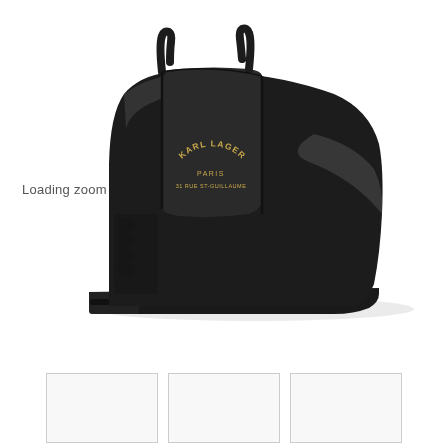[Figure (photo): Karl Lagerfeld Paris black glossy rain/chelsea boot with elastic side panel, black fabric gusset with gold text reading KARL LAGERFELD PARIS 31 RUE ST-GUILLAUME, pull loop at top, low heel, side profile view on white background]
Loading zoom
[Figure (photo): Three small thumbnail images of the Karl Lagerfeld boot product, shown in a row at the bottom of the page]
[Figure (photo): Second thumbnail]
[Figure (photo): Third thumbnail]